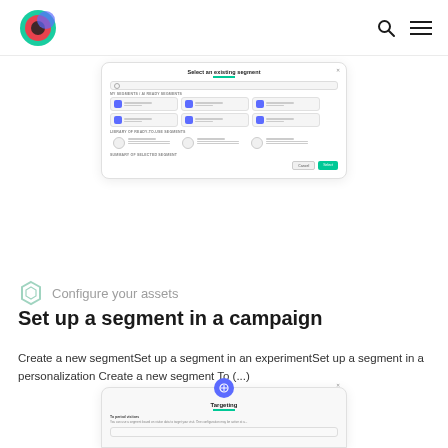[Figure (screenshot): UI modal screenshot showing 'Select an existing segment' dialog with search box, segment grid cards, library of ready-made segments, and summary section with Cancel and Select buttons]
Configure your assets
Set up a segment in a campaign
Create a new segmentSet up a segment in an experimentSet up a segment in a personalization Create a new segment To (...)
[Figure (screenshot): UI modal screenshot showing 'Targeting' dialog with a targeting circle icon, green underline, 'To period visitors' label with descriptive text, and a segment selector dropdown]